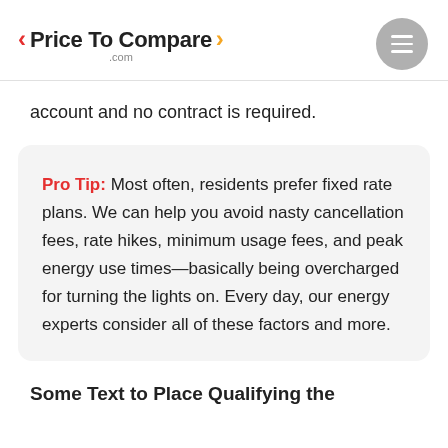< Price To Compare > .com
account and no contract is required.
Pro Tip: Most often, residents prefer fixed rate plans. We can help you avoid nasty cancellation fees, rate hikes, minimum usage fees, and peak energy use times—basically being overcharged for turning the lights on. Every day, our energy experts consider all of these factors and more.
Some Text to Place Qualifying the